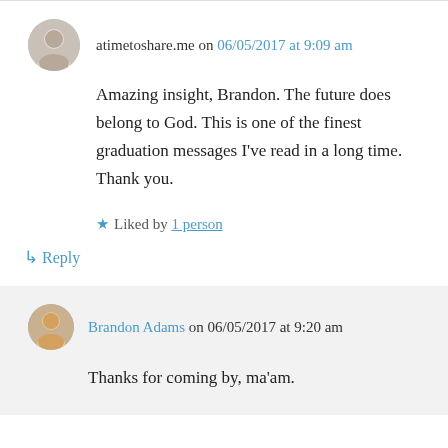atimetoshare.me on 06/05/2017 at 9:09 am
Amazing insight, Brandon. The future does belong to God. This is one of the finest graduation messages I've read in a long time. Thank you.
Liked by 1 person
↳ Reply
Brandon Adams on 06/05/2017 at 9:20 am
Thanks for coming by, ma'am.